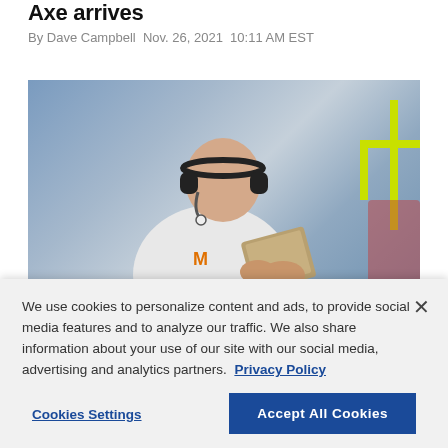Axe arrives
By Dave Campbell Nov. 26, 2021 10:11 AM EST
[Figure (photo): Football coach wearing white Minnesota Gophers jacket and headset, holding a play sheet, with yellow football goalposts visible in the background.]
We use cookies to personalize content and ads, to provide social media features and to analyze our traffic. We also share information about your use of our site with our social media, advertising and analytics partners. Privacy Policy
Cookies Settings
Accept All Cookies